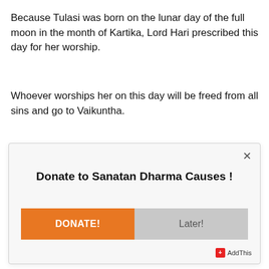Because Tulasi was born on the lunar day of the full moon in the month of Kartika, Lord Hari prescribed this day for her worship.
Whoever worships her on this day will be freed from all sins and go to Vaikuntha.
[Figure (screenshot): A modal dialog box with a close button (×), title 'Donate to Sanatan Dharma Causes !', an orange 'DONATE!' button and a gray 'Later!' button, with AddThis branding in the bottom right.]